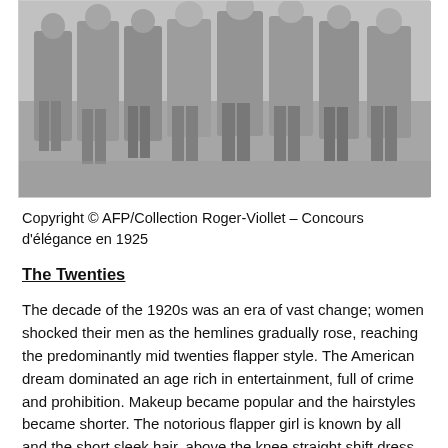[Figure (photo): Black and white photograph of a group of women in 1920s fashion (flapper-style dresses, short hemlines, heels) standing together outdoors, likely at a fashion competition.]
Copyright © AFP/Collection Roger-Viollet – Concours d'élégance en 1925
The Twenties
The decade of the 1920s was an era of vast change; women shocked their men as the hemlines gradually rose, reaching the predominantly mid twenties flapper style. The American dream dominated an age rich in entertainment, full of crime and prohibition. Makeup became popular and the hairstyles became shorter. The notorious flapper girl is known by all and the short sleek hair, above the knee straight shift dress and the boyish